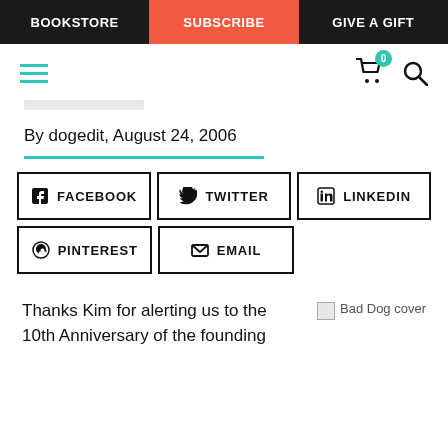BOOKSTORE | SUBSCRIBE | GIVE A GIFT
[Figure (screenshot): Navigation icons: hamburger menu (teal), shopping cart with badge '0', and search icon]
By dogedit, August 24, 2006
[Figure (infographic): Social share buttons: FACEBOOK, TWITTER, LINKEDIN, PINTEREST, EMAIL]
Thanks Kim for alerting us to the 10th Anniversary of the founding
[Figure (photo): Bad Dog cover image]